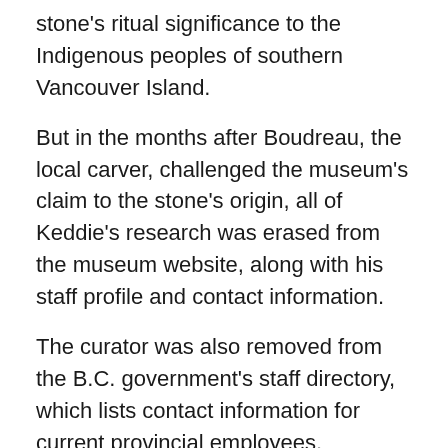stone's ritual significance to the Indigenous peoples of southern Vancouver Island.
But in the months after Boudreau, the local carver, challenged the museum's claim to the stone's origin, all of Keddie's research was erased from the museum website, along with his staff profile and contact information.
The curator was also removed from the B.C. government's staff directory, which lists contact information for current provincial employees.
Voicemail messages left on Keddie's museum phone have not been returned and his museum email address has been deactivated. Keddie did not respond to multiple interview requests for this story sent to his personal accounts.